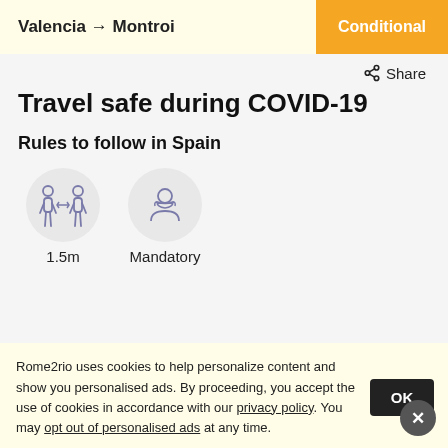Valencia → Montroi  Conditional
Share
Travel safe during COVID-19
Rules to follow in Spain
[Figure (infographic): Two icons: (1) social distancing icon showing two people 1.5m apart, labeled '1.5m'; (2) mask icon showing a person wearing a face mask, labeled 'Mandatory']
Travel within Spain
Rome2rio uses cookies to help personalize content and show you personalised ads. By proceeding, you accept the use of cookies in accordance with our privacy policy. You may opt out of personalised ads at any time.
Find out COVID-19 safety rules